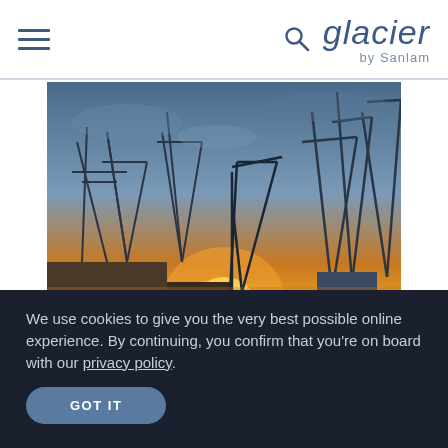glacier by Sanlam
[Figure (photo): A shipping port at sunset showing large container cranes and an MSC cargo ship reflected in calm water with a dramatic orange and blue sky.]
We use cookies to give you the very best possible online experience. By continuing, you confirm that you're on board with our privacy policy.
GOT IT